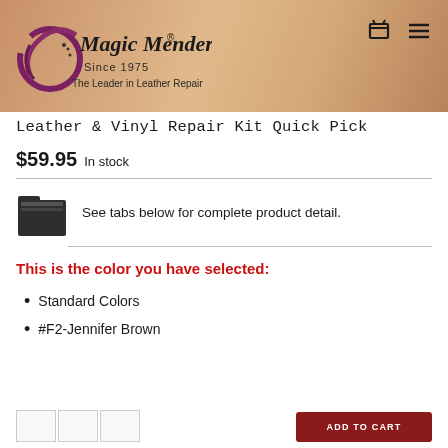[Figure (logo): Magic Mender logo with swirling graphic, text 'Magic Mender® Since 1975 The Leader in Leather Repair' on a warm tan/peach gradient background with cart and menu icons]
Leather & Vinyl Repair Kit Quick Pick
$59.95 In stock
See tabs below for complete product detail.
This is the color you have selected:
Standard Colors
#F2-Jennifer Brown